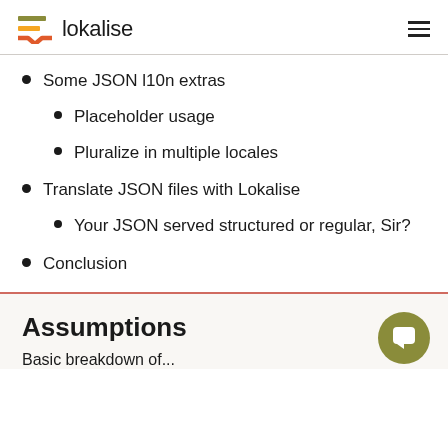lokalise
Some JSON l10n extras
Placeholder usage
Pluralize in multiple locales
Translate JSON files with Lokalise
Your JSON served structured or regular, Sir?
Conclusion
Assumptions
Basic breakdown of...